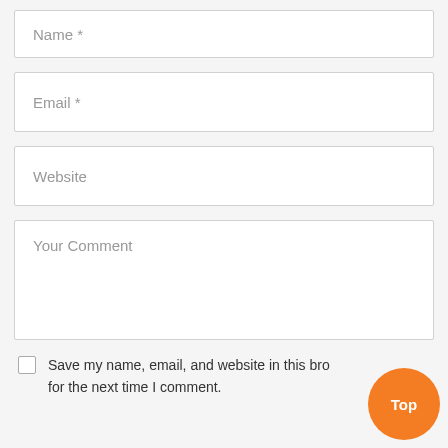Name *
Email *
Website
Your Comment
Save my name, email, and website in this bro for the next time I comment.